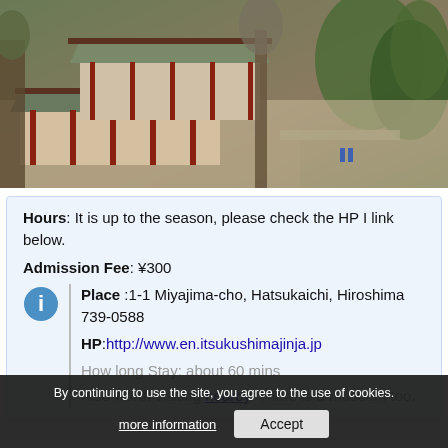[Figure (photo): Aerial view of a Japanese shrine complex with traditional wooden buildings with red trim, grey tiled roofs, and surrounding bare trees and vegetation, likely Itsukushima Shrine on Miyajima island.]
Hours: It is up to the season, please check the HP I link below.
Admission Fee: ¥300
Place :1-1 Miyajima-cho, Hatsukaichi, Hiroshima 739-0588
HP:http://www.en.itsukushimajinja.jp
How long Stay: about 60 mins
Also worth visiting nearby. There is a museum too.
By continuing to use the site, you agree to the use of cookies.